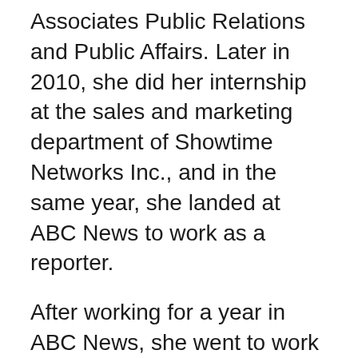Associates Public Relations and Public Affairs. Later in 2010, she did her internship at the sales and marketing department of Showtime Networks Inc., and in the same year, she landed at ABC News to work as a reporter.
After working for a year in ABC News, she went to work as a broadcast journalist for Fox Television. Following her success, she worked in Innovative Dining Group as a project until 2013 and as a social media manager till 2014. Moreover, different doors started to open up for her, and she became a Vice President at Guggenheim Partners in New York in 2014. After working there for more than 2 years, she further joined TESS Research Foundation in 2016. I after...